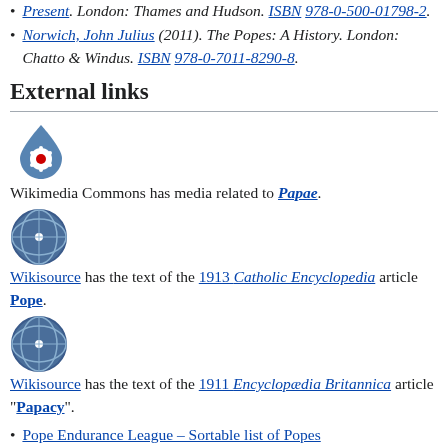Present. London: Thames and Hudson. ISBN 978-0-500-01798-2.
Norwich, John Julius (2011). The Popes: A History. London: Chatto & Windus. ISBN 978-0-7011-8290-8.
External links
[Figure (logo): Wikimedia Commons logo]
Wikimedia Commons has media related to Papae.
[Figure (logo): Wikisource logo]
Wikisource has the text of the 1913 Catholic Encyclopedia article Pope.
[Figure (logo): Wikisource logo]
Wikisource has the text of the 1911 Encyclopædia Britannica article "Papacy".
Pope Endurance League – Sortable list of Popes
Data Base of more than 23,000 documents of the Popes in Latin and modern languages
The Holy See – The Holy Father—website for the past and present Holy Fathers (since Pope Leo XIII)